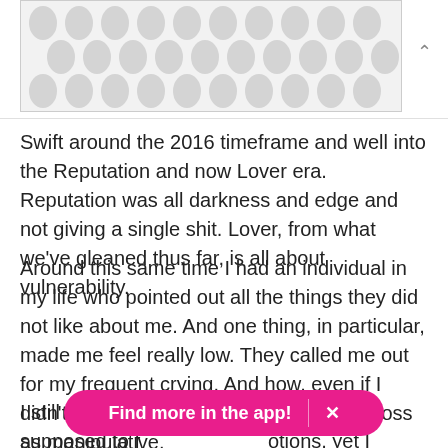[Figure (illustration): Decorative banner image with a polka-dot / teardrop pattern in light grey on a white/light grey background, inside a thin bordered rectangle.]
Swift around the 2016 timeframe and well into the Reputation and now Lover era. Reputation was all darkness and edge and not giving a single shit. Lover, from what we've gleaned thus far, is all about vulnerability.
Around this same time I had an individual in my life who pointed out all the things they did not like about me. And one thing, in particular, made me feel really low. They called me out for my frequent crying. And how, even if I didn't intend it this way, it could come across as manipulative.
I still grapple [with this to this d]ay. How I'm supposed to f[eel able to express my em]otions, yet I
Find more in the app!  ×